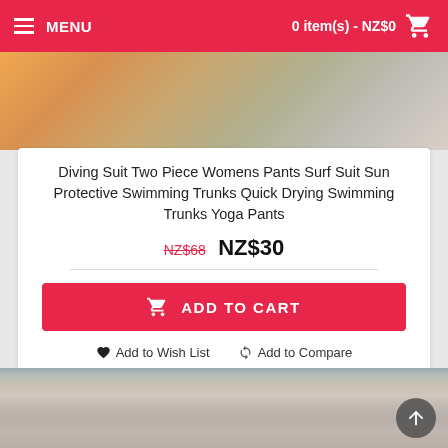MENU    0 item(s) - NZ$0
[Figure (photo): Partial product image strip at top, showing colorful fabric]
Diving Suit Two Piece Womens Pants Surf Suit Sun Protective Swimming Trunks Quick Drying Swimming Trunks Yoga Pants
NZ$68  NZ$30
ADD TO CART
Add to Wish List    Add to Compare
[Figure (photo): Young woman wearing a floral print diving/surf suit with long sleeves and a striped cap, posing outdoors in front of a glass building]